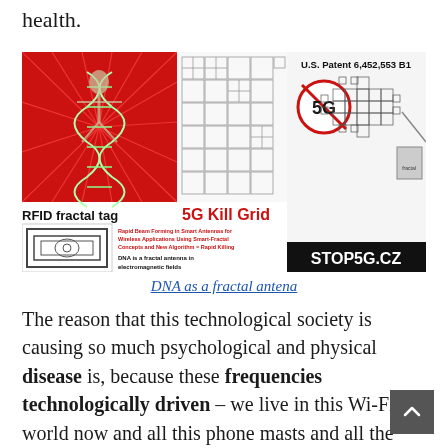health.
[Figure (infographic): Composite image showing: 'Electric DNA' image on red background with DNA and figure, RFID fractal tag diagram, '5G Kill Grid' text with fractal antenna diagrams, U.S. Patent 6,452,553 B1 with 5G crossed-out symbol, fractal cross antenna diagram, text 'Rapid Beam Forming in Smart Antennas for Wireless Applications Using Smart-Fractal Concepts and New Algorithm = Rapid Killing', 'DNA is a fractal antenna in electromagnetic fields', and 'STOP5G.CZ' black banner.]
DNA as a fractal antena
The reason that this technological society is causing so much psychological and physical disease is, because these frequencies technologically driven – we live in this Wi-Fi world now and all this phone masts and all the rest of it.